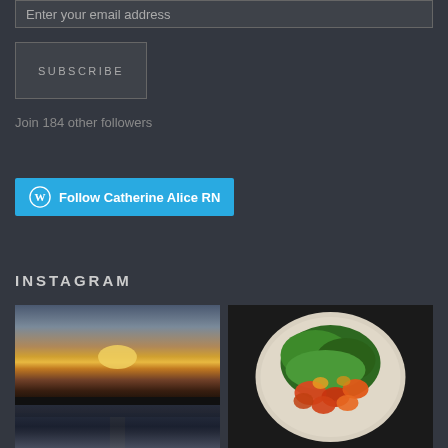Enter your email address
SUBSCRIBE
Join 184 other followers
[Figure (other): WordPress Follow button with cyan background reading 'Follow Catherine Alice RN']
INSTAGRAM
[Figure (photo): Sunset over a lake with reflections on water and dark treeline silhouette]
[Figure (photo): White plate with green leafy vegetables and orange/red edible flowers on dark background]